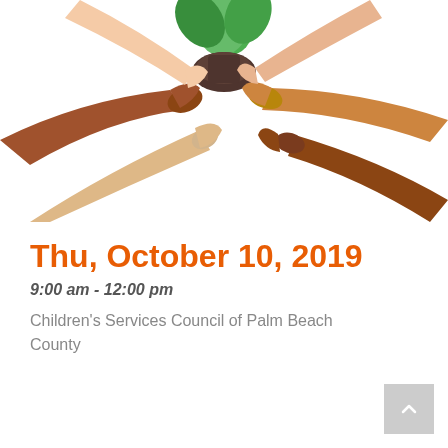[Figure (photo): Multiple children's hands of diverse skin tones holding a green leafy plant with soil from underneath, arranged in a circle, on a white background]
Thu, October 10, 2019
9:00 am - 12:00 pm
Children's Services Council of Palm Beach County